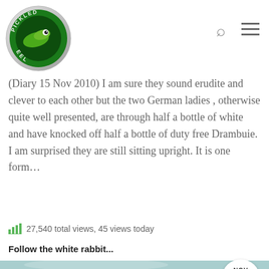[Figure (logo): Pickled Eel website logo — circular badge with a green eel/fish illustration and text 'PICKLED EEL' around the border]
(Diary 15 Nov 2010) I am sure they sound erudite and clever to each other but the two German ladies , otherwise quite well presented, are through half a bottle of white and have knocked off half a bottle of duty free Drambuie.  I am surprised they are still sitting upright. It is one form…
27,540 total views,  45 views today
Follow the white rabbit...
[Figure (photo): Partially visible photo of what appears to be a white fluffy animal (possibly a rabbit) against a teal/blue-green background, with a circular NOV / 9 date badge overlay in the bottom right]